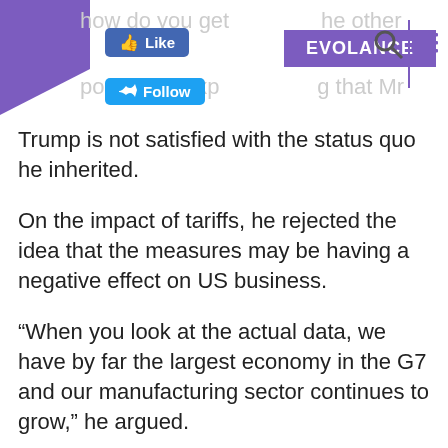EVOLANCE — website header with Like, Follow, search and menu icons
Trump is not satisfied with the status quo he inherited.
On the impact of tariffs, he rejected the idea that the measures may be having a negative effect on US business.
“When you look at the actual data, we have by far the largest economy in the G7 and our manufacturing sector continues to grow,” he argued.
US business groups have called for a rethink on tariffs, including the National Retail Federation, which has complained about the